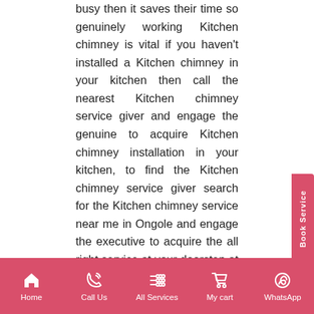busy then it saves their time so genuinely working Kitchen chimney is vital if you haven't installed a Kitchen chimney in your kitchen then call the nearest Kitchen chimney service giver and engage the genuine to acquire Kitchen chimney installation in your kitchen, to find the Kitchen chimney service giver search for the Kitchen chimney service near me in Ongole and engage the executive to acquire the all right service at your doorstep at a reasonable charge. There are many Kitchen chimney service centers in Ongole, and all of their promise that their Kitchen chimney services are greatest, but if you are seeking for the greatest and easy services at your doorstep, then call the greatest and reliable kitchen chimney service giver.
The kitchen chimney is of the electrical home appliance which sucks out smoke, odor, and oil and
Home  Call Us  All Services  My cart  WhatsApp